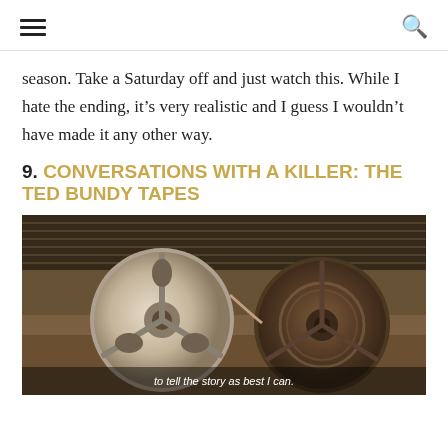≡  🔍
season. Take a Saturday off and just watch this. While I hate the ending, it's very realistic and I guess I wouldn't have made it any other way.
9. CONVERSATIONS WITH A KILLER: THE TED BUNDY TAPES
[Figure (photo): A sepia-toned photograph of reel-to-reel tape recorder spools, one lighter on the left and one darker on the right, with subtitle text reading 'to tell the story as best I can.']